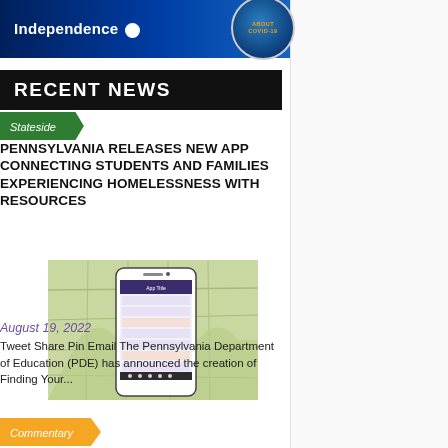[Figure (logo): Independence Blue Cross logo on dark blue banner with COVID-19 badge circle]
RECENT NEWS
Stateside
PENNSYLVANIA RELEASES NEW APP CONNECTING STUDENTS AND FAMILIES EXPERIENCING HOMELESSNESS WITH RESOURCES
[Figure (screenshot): Screenshot of a mobile phone app displayed over a map of Pennsylvania showing resource-finding application]
August 19, 2022
Tweet Share Pin Email The Pennsylvania Department of Education (PDE) has announced the creation of Finding Your...
Commentary